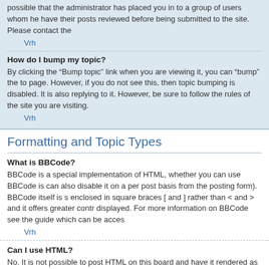possible that the administrator has placed you in to a group of users whom he have their posts reviewed before being submitted to the site. Please contact the
Vrh
How do I bump my topic?
By clicking the “Bump topic” link when you are viewing it, you can “bump” the to page. However, if you do not see this, then topic bumping is disabled. It is also replying to it. However, be sure to follow the rules of the site you are visiting.
Vrh
Formatting and Topic Types
What is BBCode?
BBCode is a special implementation of HTML, whether you can use BBCode is can also disable it on a per post basis from the posting form). BBCode itself is s enclosed in square braces [ and ] rather than < and > and it offers greater contr displayed. For more information on BBCode see the guide which can be acces
Vrh
Can I use HTML?
No. It is not possible to post HTML on this board and have it rendered as HTML out using HTML can also be applied using BBCode instead.
Vrh
What are Smilies?